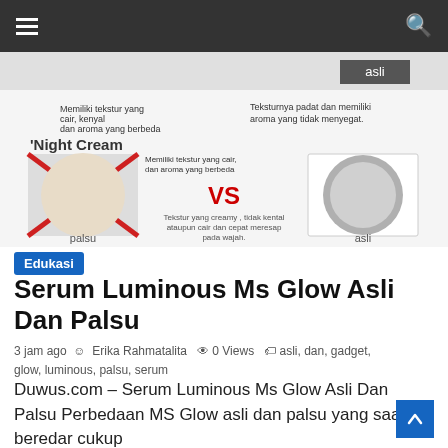Navigation bar with hamburger menu and search icon
[Figure (photo): Comparison image of MS Glow Night Cream palsu (fake) vs asli (original) showing texture differences. Left side labeled 'palsu' with red X, right side labeled 'asli'. Text in Indonesian describing texture differences. 'VS' in red center text.]
Edukasi
Serum Luminous Ms Glow Asli Dan Palsu
3 jam ago  Erika Rahmatalita  0 Views  asli, dan, gadget, glow, luminous, palsu, serum
Duwus.com – Serum Luminous Ms Glow Asli Dan Palsu Perbedaan MS Glow asli dan palsu yang saat ini beredar cukup